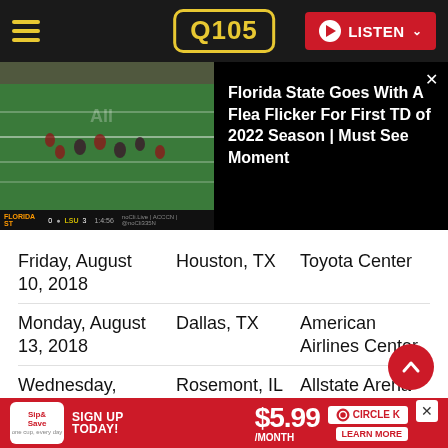Q105 — LISTEN
[Figure (screenshot): Video thumbnail of Florida State football flea flicker play on green field, with scoreboard overlay. Title card reads: Florida State Goes With A Flea Flicker For First TD of 2022 Season | Must See Moment]
| Date | City | Venue |
| --- | --- | --- |
| Friday, August 10, 2018 | Houston, TX | Toyota Center |
| Monday, August 13, 2018 | Dallas, TX | American Airlines Center |
| Wednesday, August 15, | Rosemont, IL | Allstate Arena |
[Figure (infographic): Circle K advertisement banner: Sip & Save. Sign Up Today! $5.99/Month. Circle K. Learn More.]